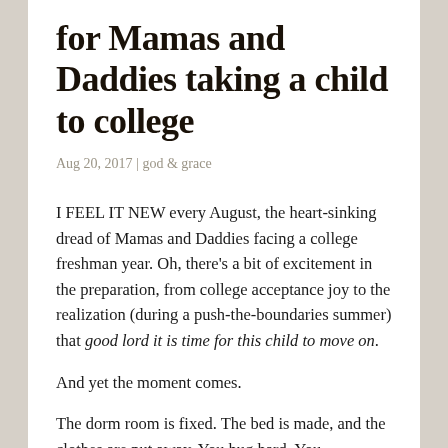for Mamas and Daddies taking a child to college
Aug 20, 2017 | god & grace
I FEEL IT NEW every August, the heart-sinking dread of Mamas and Daddies facing a college freshman year. Oh, there's a bit of excitement in the preparation, from college acceptance joy to the realization (during a push-the-boundaries summer) that good lord it is time for this child to move on.
And yet the moment comes.
The dorm room is fixed. The bed is made, and the clothes are put away. You hug hard. You